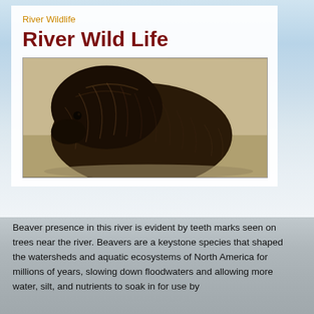River Wildlife
River Wild Life
[Figure (photo): Black and white vintage photograph of a beaver, shown in profile, with textured fur visible against a sandy/earthy background.]
Beaver presence in this river is evident by teeth marks seen on trees near the river. Beavers are a keystone species that shaped the watersheds and aquatic ecosystems of North America for millions of years, slowing down floodwaters and allowing more water, silt, and nutrients to soak in for use by